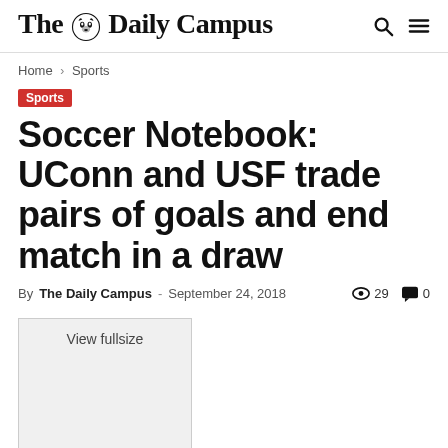The Daily Campus
Home › Sports
Sports
Soccer Notebook: UConn and USF trade pairs of goals and end match in a draw
By The Daily Campus - September 24, 2018  👁 29  💬 0
[Figure (photo): View fullsize image placeholder box]